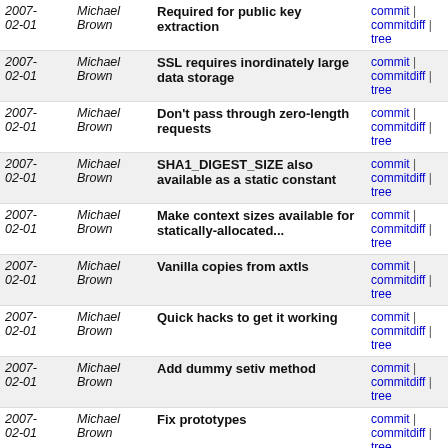| Date | Author | Message | Links |
| --- | --- | --- | --- |
| 2007-02-01 | Michael Brown | Required for public key extraction | commit | commitdiff | tree |
| 2007-02-01 | Michael Brown | SSL requires inordinately large data storage | commit | commitdiff | tree |
| 2007-02-01 | Michael Brown | Don't pass through zero-length requests | commit | commitdiff | tree |
| 2007-02-01 | Michael Brown | SHA1_DIGEST_SIZE also available as a static constant | commit | commitdiff | tree |
| 2007-02-01 | Michael Brown | Make context sizes available for statically-allocated... | commit | commitdiff | tree |
| 2007-02-01 | Michael Brown | Vanilla copies from axtls | commit | commitdiff | tree |
| 2007-02-01 | Michael Brown | Quick hacks to get it working | commit | commitdiff | tree |
| 2007-02-01 | Michael Brown | Add dummy setiv method | commit | commitdiff | tree |
| 2007-02-01 | Michael Brown | Fix prototypes | commit | commitdiff | tree |
| 2007-02-01 | Michael Brown | More assertions | commit | commitdiff | tree |
| 2007-02-01 | Michael Brown | Also print out stack pointer (with optional stack dump) | commit | commitdiff | tree |
| 2007-02-01 | Michael Brown | Placeholder | commit | commitdiff | tree |
| 2007-01-31 | Michael Brown | Assert that division result is correct | commit | commitdiff | tree |
| 2007-... | Michael Brown | Added... umoddi3 | commit | ... |